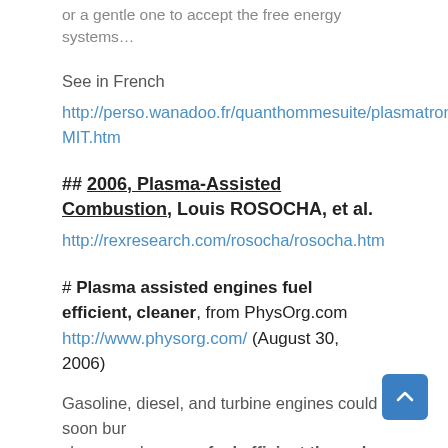or a gentle one to accept the free energy systems…
See in French
http://perso.wanadoo.fr/quanthommesuite/plasmatronMIT.htm
## 2006, Plasma-Assisted Combustion, Louis ROSOCHA, et al.
http://rexresearch.com/rosocha/rosocha.htm
# Plasma assisted engines fuel efficient, cleaner, from PhysOrg.com http://www.physorg.com/ (August 30, 2006)
Gasoline, diesel, and turbine engines could soon burn cleaner or be more fuel efficient through the application